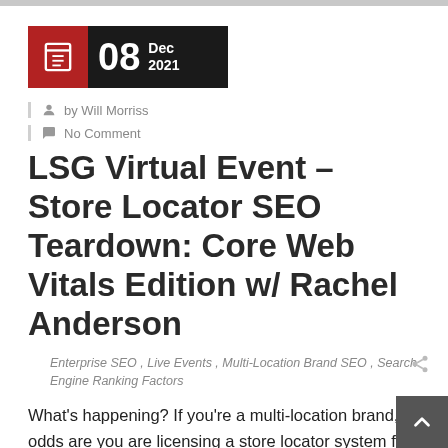[Figure (other): Date badge showing 08 Dec 2021 with a red icon box and dark background]
by Will Morriss
No Comment
LSG Virtual Event – Store Locator SEO Teardown: Core Web Vitals Edition w/ Rachel Anderson
Enterprise SEO , Live Events , Multi-Location Brand SEO , Search Engine Ranking Factors
What's happening? If you're a multi-location brand, odds are you are licensing a store locator system for your website from a third-party vendor. We at LSG figured if you are going to use